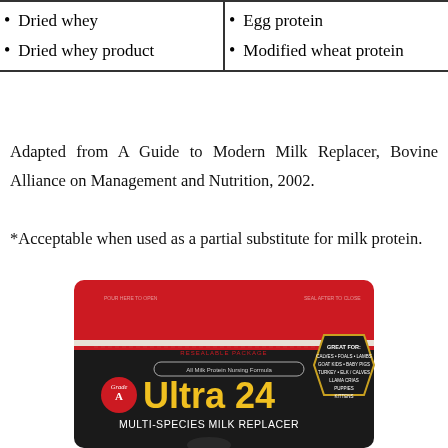| Column 1 | Column 2 |
| --- | --- |
| Dried whey | Egg protein |
| Dried whey product | Modified wheat protein |
Adapted from A Guide to Modern Milk Replacer, Bovine Alliance on Management and Nutrition, 2002.
*Acceptable when used as a partial substitute for milk protein.
[Figure (photo): Product bag of Grade A Ultra 24 Multi-Species Milk Replacer, All Milk Protein Nursing Formula. Black and red resealable package with yellow text, includes a 'Great For' shield listing calves, foals, lambs, goat kids, baby pigs, turkey, elk/calves, llama/crias, puppies, kittens.]